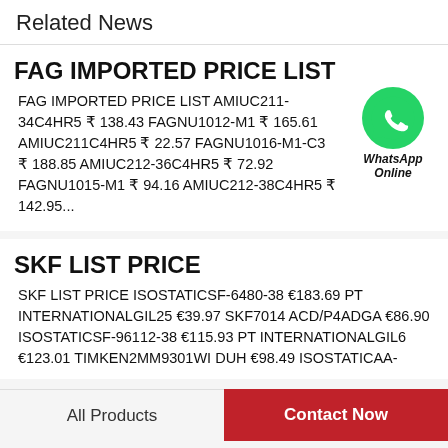Related News
FAG IMPORTED PRICE LIST
FAG IMPORTED PRICE LIST AMIUC211-34C4HR5 ₹ 138.43 FAGNU1012-M1 ₹ 165.61 AMIUC211C4HR5 ₹ 22.57 FAGNU1016-M1-C3 ₹ 188.85 AMIUC212-36C4HR5 ₹ 72.92 FAGNU1015-M1 ₹ 94.16 AMIUC212-38C4HR5 ₹ 142.95...
[Figure (logo): WhatsApp green chat bubble icon with label 'WhatsApp Online']
SKF LIST PRICE
SKF LIST PRICE ISOSTATICSF-6480-38 €183.69 PT INTERNATIONALGIL25 €39.97 SKF7014 ACD/P4ADGA €86.90 ISOSTATICSF-96112-38 €115.93 PT INTERNATIONALGIL6 €123.01 TIMKEN2MM9301WI DUH €98.49 ISOSTATICAA-
All Products | Contact Now